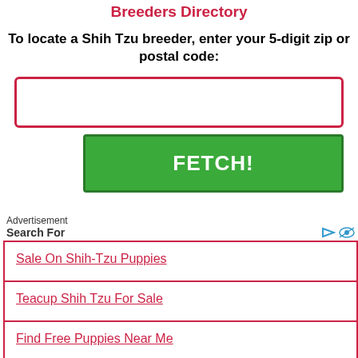Breeders Directory
To locate a Shih Tzu breeder, enter your 5-digit zip or postal code:
[Figure (other): Text input field with red border for zip/postal code entry]
[Figure (other): Green FETCH! button]
Advertisement
Search For
Sale On Shih-Tzu Puppies
Teacup Shih Tzu For Sale
Find Free Puppies Near Me